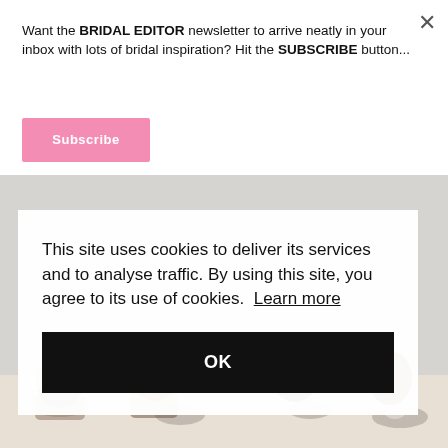Want the BRIDAL EDITOR newsletter to arrive neatly in your inbox with lots of bridal inspiration? Hit the SUBSCRIBE button...
Subscribe
[Figure (photo): Wedding reception photo showing people seated at a table from behind, with a light grey background]
This site uses cookies to deliver its services and to analyse traffic. By using this site, you agree to its use of cookies. Learn more
OK